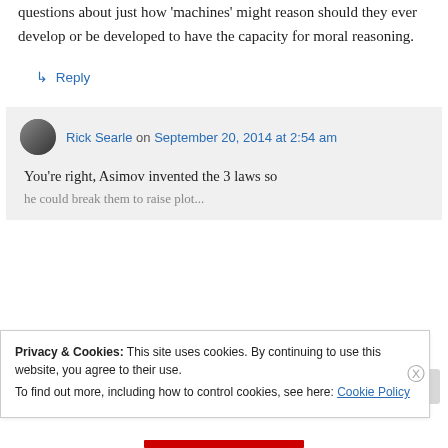any of the three. Asimov some interesting questions about just how 'machines' might reason should they ever develop or be developed to have the capacity for moral reasoning.
↳ Reply
Rick Searle on September 20, 2014 at 2:54 am
You're right, Asimov invented the 3 laws so he could break them to raise plot...
Privacy & Cookies: This site uses cookies. By continuing to use this website, you agree to their use. To find out more, including how to control cookies, see here: Cookie Policy